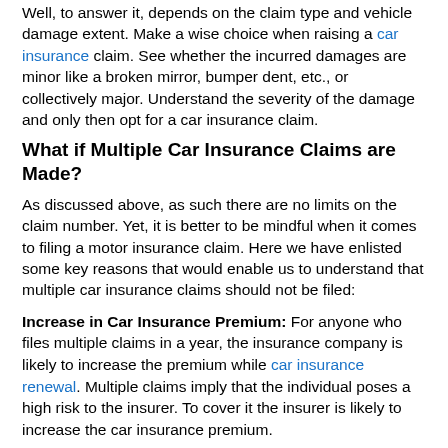Well, to answer it, depends on the claim type and vehicle damage extent. Make a wise choice when raising a car insurance claim. See whether the incurred damages are minor like a broken mirror, bumper dent, etc., or collectively major. Understand the severity of the damage and only then opt for a car insurance claim.
What if Multiple Car Insurance Claims are Made?
As discussed above, as such there are no limits on the claim number. Yet, it is better to be mindful when it comes to filing a motor insurance claim. Here we have enlisted some key reasons that would enable us to understand that multiple car insurance claims should not be filed:
Increase in Car Insurance Premium: For anyone who files multiple claims in a year, the insurance company is likely to increase the premium while car insurance renewal. Multiple claims imply that the individual poses a high risk to the insurer. To cover it the insurer is likely to increase the car insurance premium.
No Claim Bonus: The No Claim Bonus is essentially a